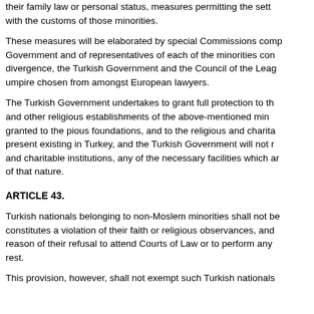their family law or personal status, measures permitting the sett with the customs of those minorities.
These measures will be elaborated by special Commissions comp Government and of representatives of each of the minorities con divergence, the Turkish Government and the Council of the Leag umpire chosen from amongst European lawyers.
The Turkish Government undertakes to grant full protection to th and other religious establishments of the above-mentioned min granted to the pious foundations, and to the religious and charit present existing in Turkey, and the Turkish Government will not r and charitable institutions, any of the necessary facilities which ar of that nature.
ARTICLE 43.
Turkish nationals belonging to non-Moslem minorities shall not be constitutes a violation of their faith or religious observances, and reason of their refusal to attend Courts of Law or to perform any rest.
This provision, however, shall not exempt such Turkish nationals